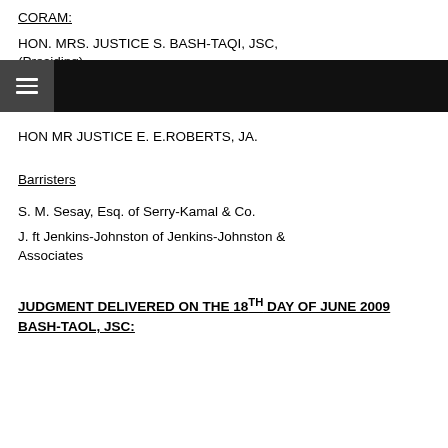CORAM:
HON. MRS. JUSTICE S. BASH-TAQI, JSC, (Presiding)
HON MR JUSTICE E. E.ROBERTS, JA.
Barristers
S. M. Sesay, Esq. of Serry-Kamal & Co.
J. ft Jenkins-Johnston of Jenkins-Johnston & Associates
JUDGMENT DELIVERED ON THE 18TH DAY OF JUNE 2009 BASH-TAOL, JSC: